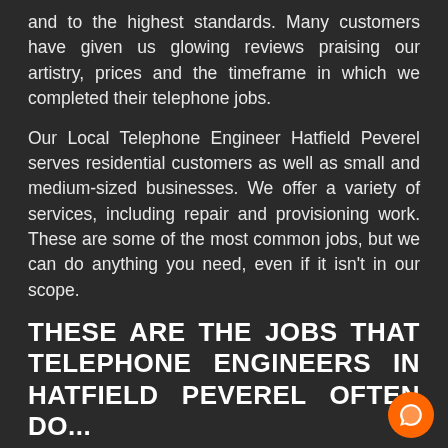and to the highest standards. Many customers have given us glowing reviews praising our artistry, prices and the timeframe in which we completed their telephone jobs.
Our Local Telephone Engineer Hatfield Peverel serves residential customers as well as small and medium-sized businesses. We offer a variety of services, including repair and provisioning work. These are some of the most common jobs, but we can do anything you need, even if it isn't in our scope.
THESE ARE THE JOBS THAT TELEPHONE ENGINEERS IN HATFIELD PEVEREL OFTEN DO...
Master Socket Conversions – Don't know wher...